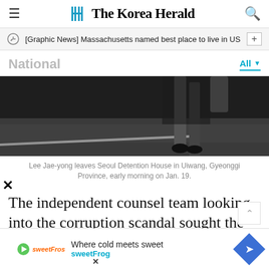The Korea Herald
[Graphic News] Massachusetts named best place to live in US
National
[Figure (photo): Dark photo showing legs of a person walking, shot from low angle on a road or parking area]
Lee Jae-yong leaves Seoul Detention House in Uiwang, Gyeonggi Province, early morning on Jan. 19.
The independent counsel team looking into the corruption scandal sought the warrant for Lee on Monday on charges of bribery, embezzlement and perjury.
Where cold meets sweet sweetFrog